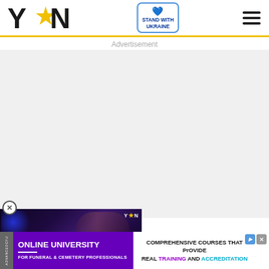[Figure (logo): YEN.com.gh logo with bold blocky letters Y, star-shaped O, N in dark/black color]
[Figure (logo): Stand With Ukraine badge with blue heart icon and blue border]
[Figure (illustration): Hamburger menu icon with three horizontal lines]
Advertisement
[Figure (screenshot): Video player thumbnail showing a woman being interviewed at an event with blue lights, YEN logo in top right, play button in center]
[Figure (infographic): Online University ad banner: purple left side reading ONLINE UNIVERSITY FOR FUNERAL & CEMETERY PROFESSIONALS; white right side reading COMPREHENSIVE COURSES THAT PROVIDE REAL TRAINING AND ACCREDITATION with ad icons]